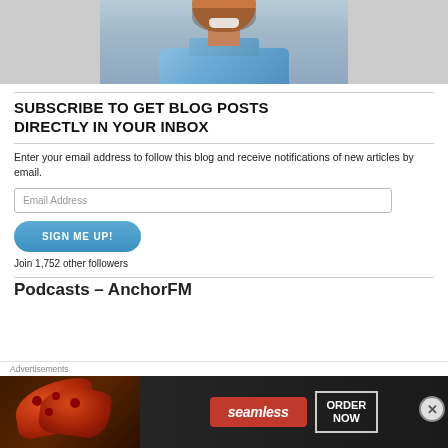[Figure (photo): Cropped photo of a smiling man wearing a blue plaid shirt, shown from shoulders up against a blurred outdoor background.]
SUBSCRIBE TO GET BLOG POSTS DIRECTLY IN YOUR INBOX
Enter your email address to follow this blog and receive notifications of new articles by email.
Email Address
SIGN ME UP!
Join 1,752 other followers
Podcasts – AnchorFM
Advertisements
[Figure (photo): Seamless food delivery advertisement banner showing pizza slices on dark background with Seamless logo and ORDER NOW call to action.]